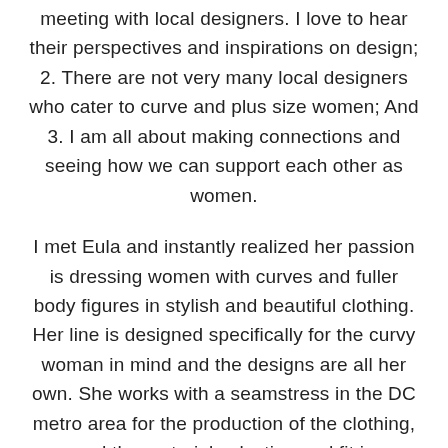meeting with local designers. I love to hear their perspectives and inspirations on design; 2. There are not very many local designers who cater to curve and plus size women; And 3. I am all about making connections and seeing how we can support each other as women.
I met Eula and instantly realized her passion is dressing women with curves and fuller body figures in stylish and beautiful clothing. Her line is designed specifically for the curvy woman in mind and the designs are all her own. She works with a seamstress in the DC metro area for the production of the clothing, and the material selection and fit is impeccable. The pieces are so intricately made and oh, did I mention